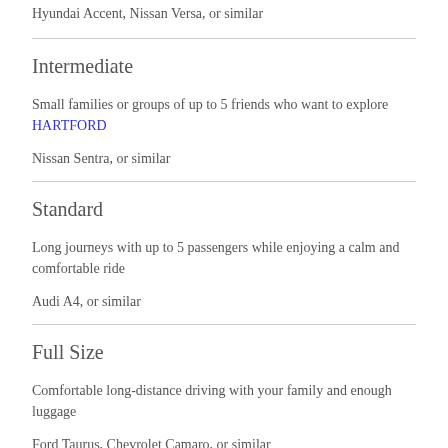Hyundai Accent, Nissan Versa, or similar
Intermediate
Small families or groups of up to 5 friends who want to explore HARTFORD
Nissan Sentra, or similar
Standard
Long journeys with up to 5 passengers while enjoying a calm and comfortable ride
Audi A4, or similar
Full Size
Comfortable long-distance driving with your family and enough luggage
Ford Taurus, Chevrolet Camaro, or similar